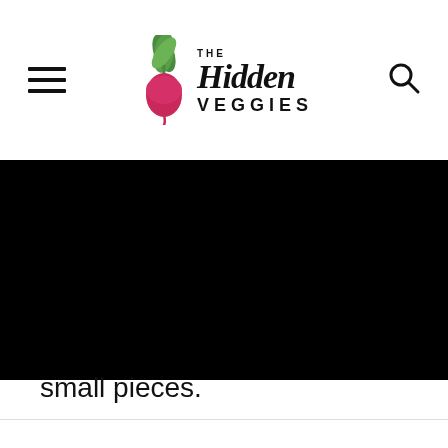THE Hidden VEGGIES
[Figure (photo): Black photograph area, content not visible]
small pieces.